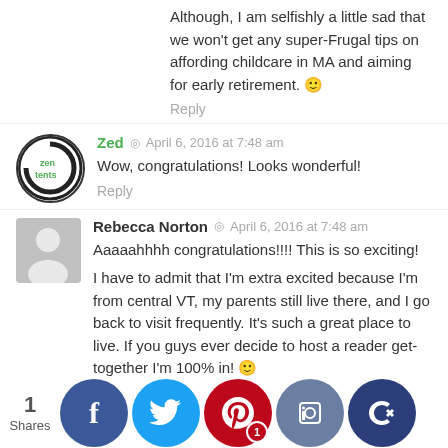Although, I am selfishly a little sad that we won't get any super-Frugal tips on affording childcare in MA and aiming for early retirement. 🙂
Reply
Zed  ◎  April 6, 2016 at 7:48 am
Wow, congratulations! Looks wonderful!
Reply
Rebecca Norton  ◎  April 6, 2016 at 7:48 am
Aaaaaahhhh congratulations!!!! This is so exciting!

I have to admit that I'm extra excited because I'm from central VT, my parents still live there, and I go back to visit frequently. It's such a great place to live. If you guys ever decide to host a reader get-together I'm 100% in! 🙂
Reply
Mrs. Frugalwoods  ◎  April 6, 2016 at 1:19 pm
Oh fun! I'm so glad to hear you love central VT!!! What town ur pare...
[Figure (infographic): Social sharing bar with 1 Share count and icons for Facebook, Twitter, Pinterest (with badge '1'), Like/thumbs-up, and a crown icon]